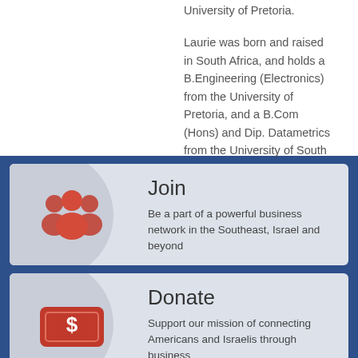University of Pretoria.
Laurie was born and raised in South Africa, and holds a B.Engineering (Electronics) from the University of Pretoria, and a B.Com (Hons) and Dip. Datametrics from the University of South Africa.
[Figure (infographic): Join section card with orange people/group icon and text: Join - Be a part of a powerful business network in the Southeast, Israel and beyond]
[Figure (infographic): Donate section card with orange dollar/money icon and text: Donate - Support our mission of connecting Americans and Israelis through business]